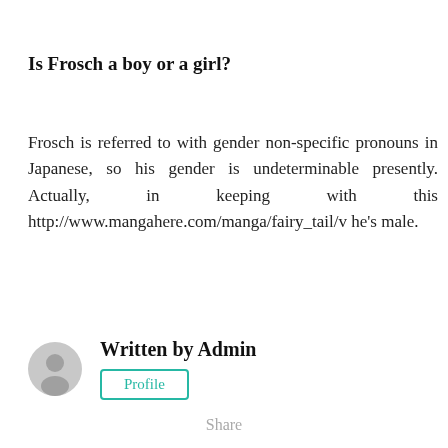Is Frosch a boy or a girl?
Frosch is referred to with gender non-specific pronouns in Japanese, so his gender is undeterminable presently. Actually, in keeping with this http://www.mangahere.com/manga/fairy_tail/v he's male.
Written by Admin
[Figure (illustration): Circular grey avatar icon for user Admin]
Profile
Share